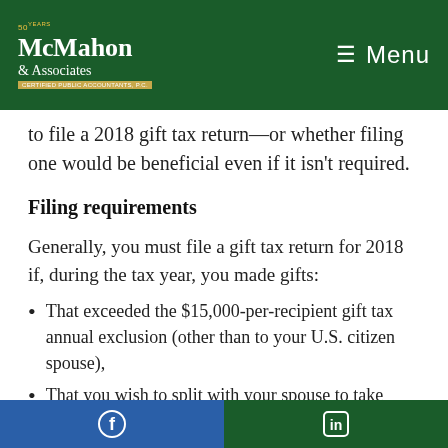McMahon & Associates — Menu
to file a 2018 gift tax return—or whether filing one would be beneficial even if it isn't required.
Filing requirements
Generally, you must file a gift tax return for 2018 if, during the tax year, you made gifts:
That exceeded the $15,000-per-recipient gift tax annual exclusion (other than to your U.S. citizen spouse),
That you wish to split with your spouse to take
Facebook | LinkedIn